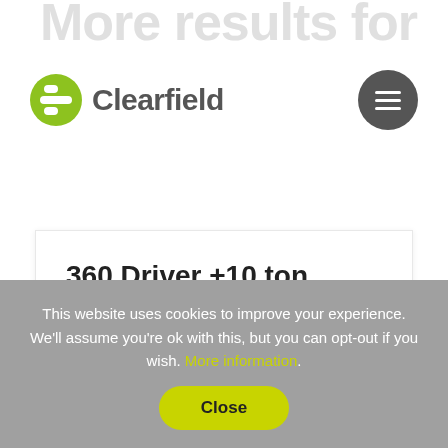More results for
[Figure (logo): Clearfield company logo with green circular icon containing a stylized C and the text Clearfield]
360 Driver +10 ton
TEMPORARY
This website uses cookies to improve your experience. We'll assume you're ok with this, but you can opt-out if you wish. More information. Close